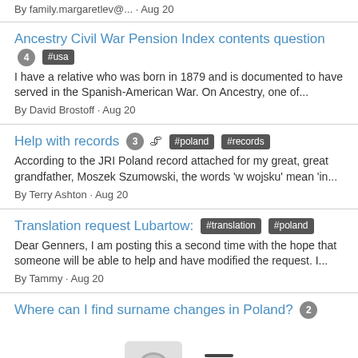By family.margaretlev@... · Aug 20
Ancestry Civil War Pension Index contents question  4  #usa
I have a relative who was born in 1879 and is documented to have served in the Spanish-American War. On Ancestry, one of...
By David Brostoff · Aug 20
Help with records  3  📎  #poland  #records
According to the JRI Poland record attached for my great, great grandfather, Moszek Szumowski, the words 'w wojsku' mean 'in...
By Terry Ashton · Aug 20
Translation request Lubartow:  #translation  #poland
Dear Genners, I am posting this a second time with the hope that someone will be able to help and have modified the request. I...
By Tammy · Aug 20
Where can I find surname changes in Poland?  2